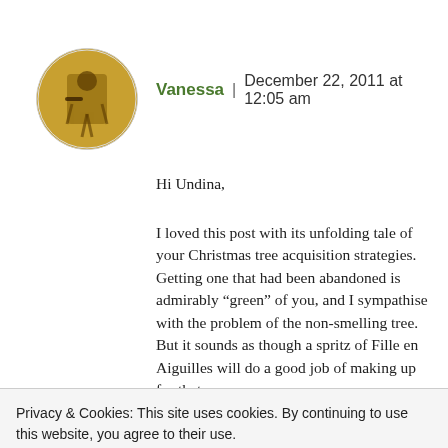[Figure (photo): Circular avatar image with golden/yellow tones showing a decorative or figurative design, bordered by a light circle outline]
Vanessa | December 22, 2011 at 12:05 am
Hi Undina,
I loved this post with its unfolding tale of your Christmas tree acquisition strategies. Getting one that had been abandoned is admirably “green” of you, and I sympathise with the problem of the non-smelling tree. But it sounds as though a spritz of Fille en Aiguilles will do a good job of making up for that.
Privacy & Cookies: This site uses cookies. By continuing to use this website, you agree to their use.
To find out more, including how to control cookies, see here: Cookie Policy
Close and accept
Enjoy your tree and your festive celebrations – have